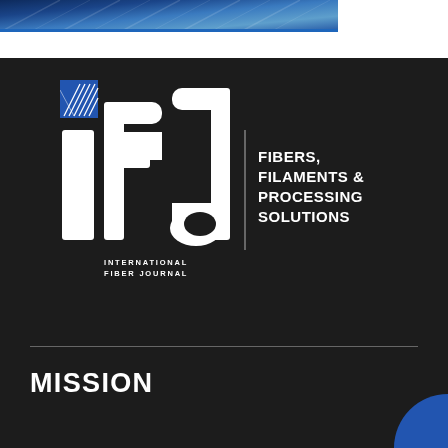[Figure (photo): Blue fiber/textile texture banner image across the top portion of the page]
[Figure (logo): International Fiber Journal (IFJ) logo on dark background. Large white 'ifj' letters with a blue diamond icon above. Tagline reads: FIBERS, FILAMENTS & PROCESSING SOLUTIONS. Subtitle: INTERNATIONAL FIBER JOURNAL]
MISSION